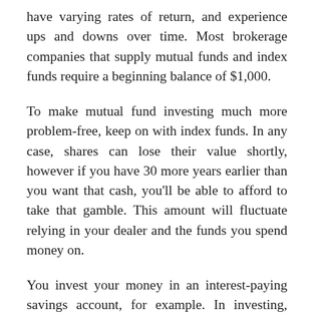have varying rates of return, and experience ups and downs over time. Most brokerage companies that supply mutual funds and index funds require a beginning balance of $1,000.
To make mutual fund investing much more problem-free, keep on with index funds. In any case, shares can lose their value shortly, however if you have 30 more years earlier than you want that cash, you'll be able to afford to take that gamble. This amount will fluctuate relying in your dealer and the funds you spend money on.
You invest your money in an interest-paying savings account, for example. In investing, there's generally a trade-off between threat and return. A very good administration ...